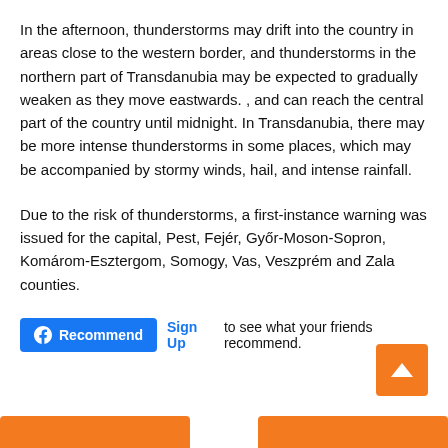In the afternoon, thunderstorms may drift into the country in areas close to the western border, and thunderstorms in the northern part of Transdanubia may be expected to gradually weaken as they move eastwards. , and can reach the central part of the country until midnight. In Transdanubia, there may be more intense thunderstorms in some places, which may be accompanied by stormy winds, hail, and intense rainfall.
Due to the risk of thunderstorms, a first-instance warning was issued for the capital, Pest, Fejér, Győr-Moson-Sopron, Komárom-Esztergom, Somogy, Vas, Veszprém and Zala counties.
[Figure (other): Facebook Recommend button and Sign Up link with text 'to see what your friends recommend.']